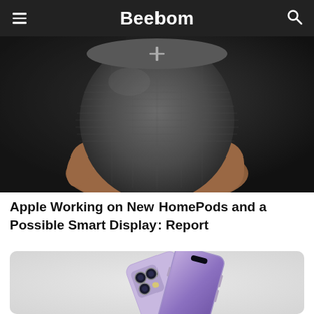Beebom
[Figure (photo): Close-up photo of a hand holding an Apple HomePod mini smart speaker with mesh fabric exterior]
Apple Working on New HomePods and a Possible Smart Display: Report
[Figure (photo): Two purple/lavender iPhone 14 Pro smartphones shown from rear and front angle on a light gray background]